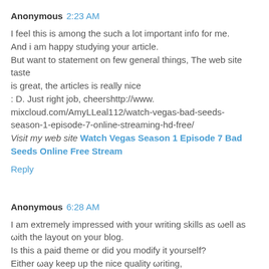Anonymous 2:23 AM
I feel this is among the such a lot important info for me. And i am happy studying your article. But want to statement on few general things, The web site taste is great, the articles is really nice : D. Just right job, cheershttp://www.mixcloud.com/AmyLLeal112/watch-vegas-bad-seeds-season-1-episode-7-online-streaming-hd-free/ Visit my web site Watch Vegas Season 1 Episode 7 Bad Seeds Online Free Stream
Reply
Anonymous 6:28 AM
I am extremely impressed with your writing skills as well as with the layout on your blog. Is this a paid theme or did you modify it yourself? Either way keep up the nice quality writing, it's rare to see a nice blog like this one today. Watch